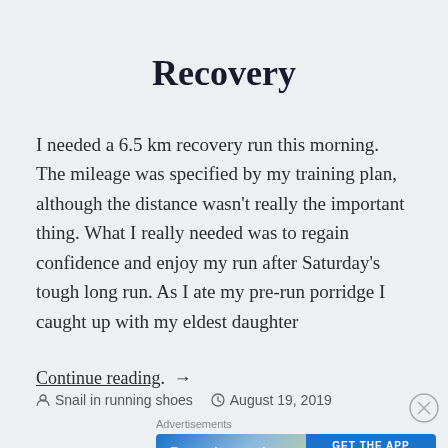Recovery
I needed a 6.5 km recovery run this morning. The mileage was specified by my training plan, although the distance wasn't really the important thing. What I really needed was to regain confidence and enjoy my run after Saturday's tough long run. As I ate my pre-run porridge I caught up with my eldest daughter
Continue reading. →
Snail in running shoes   August 19, 2019
Advertisements
[Figure (other): Advertisement banner: 'Create immersive stories. GET THE APP' with WordPress logo on blue/green gradient background]